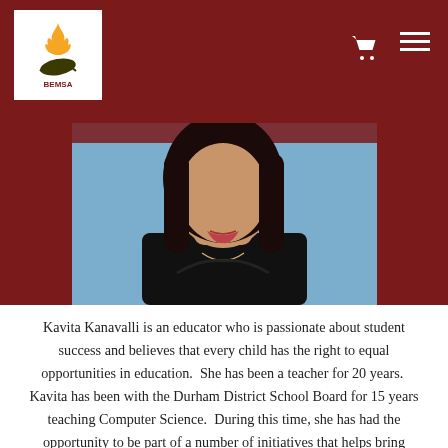BEMSA navigation bar with logo, cart icon, and hamburger menu
[Figure (photo): Portrait photo of Kavita Kanavalli, a woman with long dark hair wearing a black top, against a blue background]
Kavita Kanavalli is an educator who is passionate about student success and believes that every child has the right to equal opportunities in education. She has been a teacher for 20 years. Kavita has been with the Durham District School Board for 15 years teaching Computer Science. During this time, she has had the opportunity to be part of a number of initiatives that helps bring equitable outcomes for students. Kavita is currently the Vice Principal at